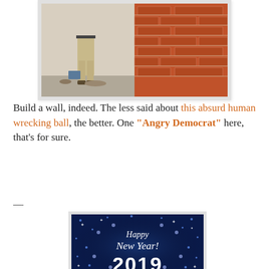[Figure (photo): Person standing next to a brick wall column, wearing khaki pants and a belt. Construction or masonry context. Photo has light border.]
Build a wall, indeed. The less said about this absurd human wrecking ball, the better. One "Angry Democrat" here, that's for sure.
—
[Figure (photo): Happy New Year 2019 greeting card image — dark blue background with stars and sparkles, white script text reading 'Happy New Year!' and large bold '2019'.]